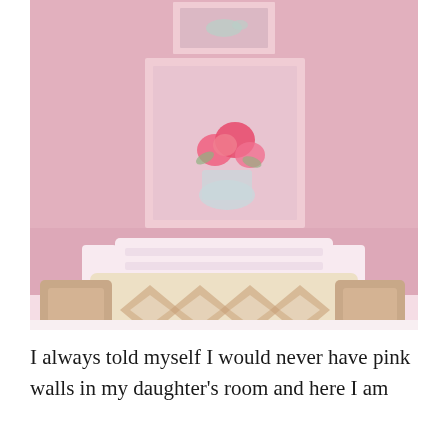[Figure (photo): A girl's bedroom with pink walls. Two framed artworks hang on the wall — a small one at top and a larger floral watercolor painting below it. A white bed headboard is visible with decorative ikat-patterned pillows in brown and white.]
I always told myself I would never have pink walls in my daughter's room and here I am